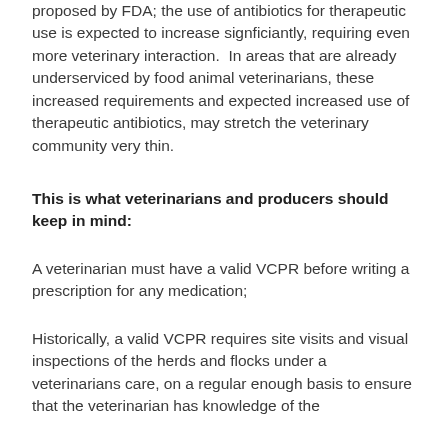proposed by FDA; the use of antibiotics for therapeutic use is expected to increase signficiantly, requiring even more veterinary interaction.  In areas that are already underserviced by food animal veterinarians, these increased requirements and expected increased use of therapeutic antibiotics, may stretch the veterinary community very thin.
This is what veterinarians and producers should keep in mind:
A veterinarian must have a valid VCPR before writing a prescription for any medication;
Historically, a valid VCPR requires site visits and visual inspections of the herds and flocks under a veterinarians care, on a regular enough basis to ensure that the veterinarian has knowledge of the